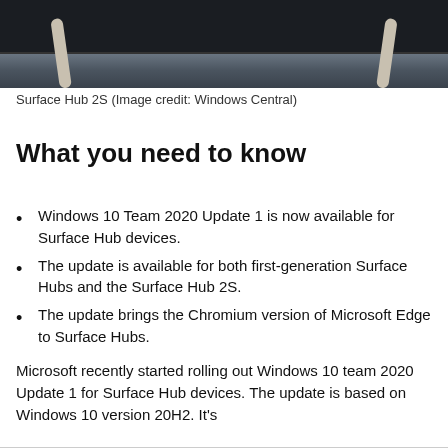[Figure (photo): Partial photo of a Surface Hub 2S device (large screen monitor on stand) against a dark grey/blue background, with only the top portion visible.]
Surface Hub 2S (Image credit: Windows Central)
What you need to know
Windows 10 Team 2020 Update 1 is now available for Surface Hub devices.
The update is available for both first-generation Surface Hubs and the Surface Hub 2S.
The update brings the Chromium version of Microsoft Edge to Surface Hubs.
Microsoft recently started rolling out Windows 10 team 2020 Update 1 for Surface Hub devices. The update is based on Windows 10 version 20H2. It's